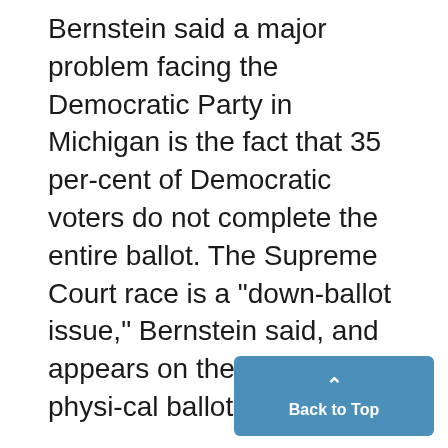Bernstein said a major problem facing the Democratic Party in Michigan is the fact that 35 per-cent of Democratic voters do not complete the entire ballot. The Supreme Court race is a "down-ballot issue," Bernstein said, and appears on the back of the physi-cal ballot. Bernstein also referenced his experience finishing 18 mara-thons and an Ironman Triathlon. "Athletics helps to shatter a lot of stereotypes and change a lo